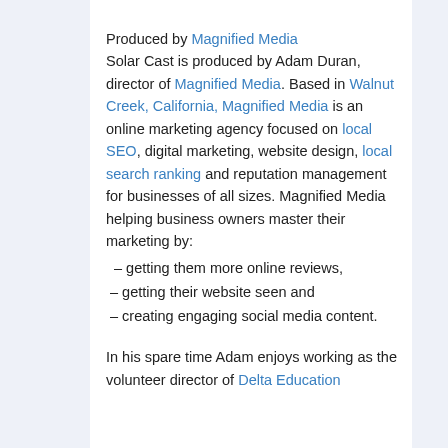Produced by Magnified Media
Solar Cast is produced by Adam Duran, director of Magnified Media. Based in Walnut Creek, California, Magnified Media is an online marketing agency focused on local SEO, digital marketing, website design, local search ranking and reputation management for businesses of all sizes. Magnified Media helping business owners master their marketing by:
– getting them more online reviews,
– getting their website seen and
– creating engaging social media content.
In his spare time Adam enjoys working as the volunteer director of Delta Education